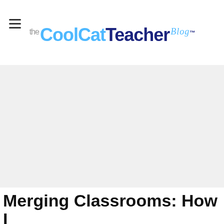The CoolCatTeacher Blog
[Figure (photo): Large light gray placeholder hero image area]
Merging Classrooms: How I Shared My Students with a